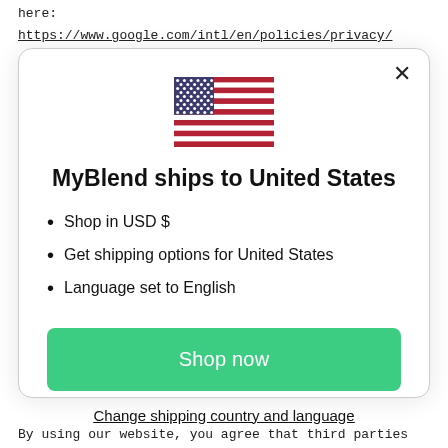here:
https://www.google.com/intl/en/policies/privacy/
[Figure (illustration): US flag emoji / icon displayed at top center of modal dialog]
MyBlend ships to United States
Shop in USD $
Get shipping options for United States
Language set to English
Shop now
Change shipping country and language
By using our website, you agree that third parties